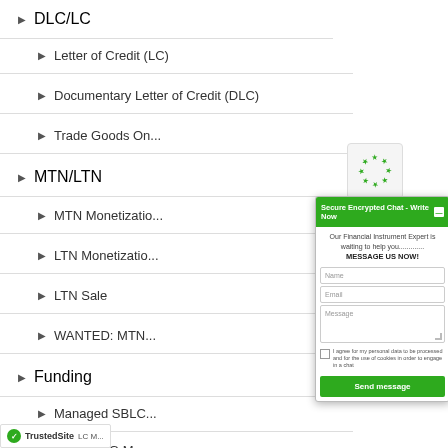DLC/LC
Letter of Credit (LC)
Documentary Letter of Credit (DLC)
Trade Goods On...
MTN/LTN
MTN Monetization
LTN Monetization
LTN Sale
WANTED: MTN
Funding
Managed SBLC
Leased BG Mon...
[Figure (screenshot): Secure Encrypted Chat popup with icon, header, name/email/message fields, consent checkbox, and Send message button]
TrustedSite LC M...